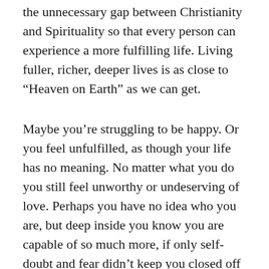the unnecessary gap between Christianity and Spirituality so that every person can experience a more fulfilling life. Living fuller, richer, deeper lives is as close to “Heaven on Earth” as we can get.
Maybe you’re struggling to be happy. Or you feel unfulfilled, as though your life has no meaning. No matter what you do you still feel unworthy or undeserving of love. Perhaps you have no idea who you are, but deep inside you know you are capable of so much more, if only self-doubt and fear didn’t keep you closed off from experiencing all kinds of opportunities in life. Perhaps you’re tired of feeling like you aren’t good enough … but it has become so engrained! All you know is